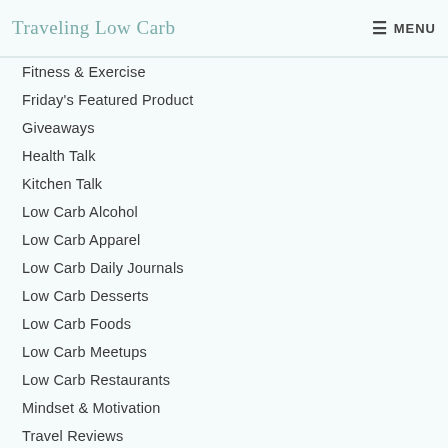Traveling Low Carb | MENU
Fitness & Exercise
Friday's Featured Product
Giveaways
Health Talk
Kitchen Talk
Low Carb Alcohol
Low Carb Apparel
Low Carb Daily Journals
Low Carb Desserts
Low Carb Foods
Low Carb Meetups
Low Carb Restaurants
Mindset & Motivation
Travel Reviews
Weight Loss
Weight Loss Fashion
Weight Loss Products